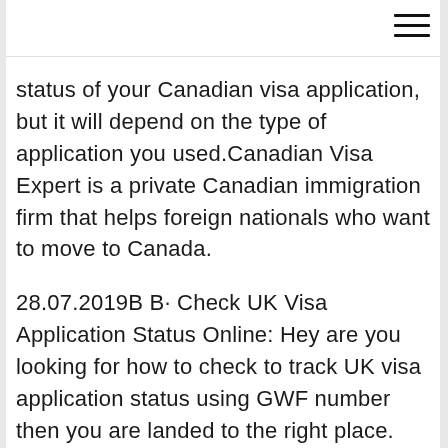status of your Canadian visa application, but it will depend on the type of application you used.Canadian Visa Expert is a private Canadian immigration firm that helps foreign nationals who want to move to Canada.
28.07.2019B B· Check UK Visa Application Status Online: Hey are you looking for how to check to track UK visa application status using GWF number then you are landed to the right place. Here you can find the ultimate guide on how to use GWF number to track UK visa application status online and offline. Application In Process Your file has been sent to the Immigration Refugees and Citizenship Canada